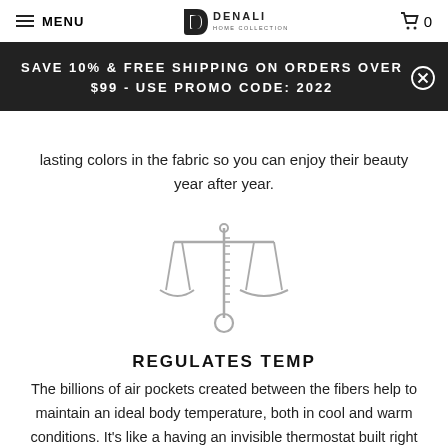MENU | DENALI HOME COLLECTION | 0
SAVE 10% & FREE SHIPPING ON ORDERS OVER $99 - USE PROMO CODE: 2022
lasting colors in the fabric so you can enjoy their beauty year after year.
[Figure (illustration): Icon of a balance scale combined with a thermometer, rendered in gray outline style]
REGULATES TEMP
The billions of air pockets created between the fibers help to maintain an ideal body temperature, both in cool and warm conditions. It's like a having an invisible thermostat built right into the blanket.